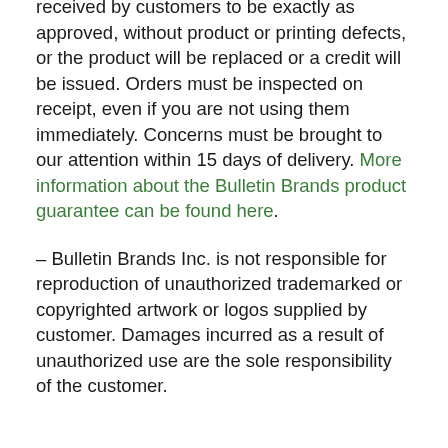received by customers to be exactly as approved, without product or printing defects, or the product will be replaced or a credit will be issued. Orders must be inspected on receipt, even if you are not using them immediately. Concerns must be brought to our attention within 15 days of delivery. More information about the Bulletin Brands product guarantee can be found here.
– Bulletin Brands Inc. is not responsible for reproduction of unauthorized trademarked or copyrighted artwork or logos supplied by customer. Damages incurred as a result of unauthorized use are the sole responsibility of the customer.